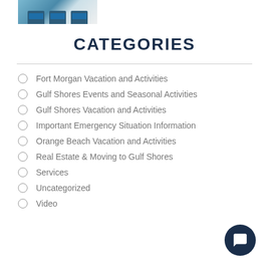[Figure (photo): Photo of beach lounge chairs with blue cushions]
CATEGORIES
Fort Morgan Vacation and Activities
Gulf Shores Events and Seasonal Activities
Gulf Shores Vacation and Activities
Important Emergency Situation Information
Orange Beach Vacation and Activities
Real Estate & Moving to Gulf Shores
Services
Uncategorized
Video